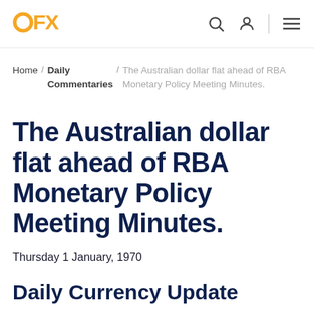OFX
Home / Daily Commentaries / The Australian dollar flat ahead of RBA Monetary Policy Meeting Minutes.
The Australian dollar flat ahead of RBA Monetary Policy Meeting Minutes.
Thursday 1 January, 1970
Daily Currency Update